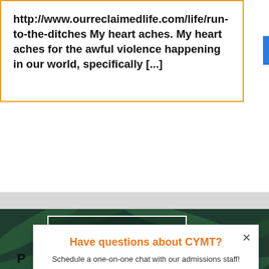http://www.ourreclaimedlife.com/life/run-to-the-ditches My heart aches. My heart aches for the awful violence happening in our world, specifically [...]
[Figure (screenshot): Dark green tropical leaf background with a white-bordered box containing the word 'Lent' in large serif white font, and 'POWERED BY SUMO' text with a crown logo below it.]
Have questions about CYMT?
Schedule a one-on-one chat with our admissions staff!
Schedule Now
P